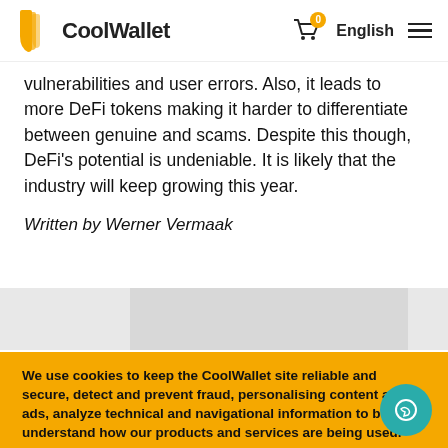CoolWallet | English
vulnerabilities and user errors. Also, it leads to more DeFi tokens making it harder to differentiate between genuine and scams. Despite this though, DeFi's potential is undeniable. It is likely that the industry will keep growing this year.
Written by Werner Vermaak
We use cookies to keep the CoolWallet site reliable and secure, detect and prevent fraud, personalising content and ads, analyze technical and navigational information to better understand how our products and services are being used. Find out more.